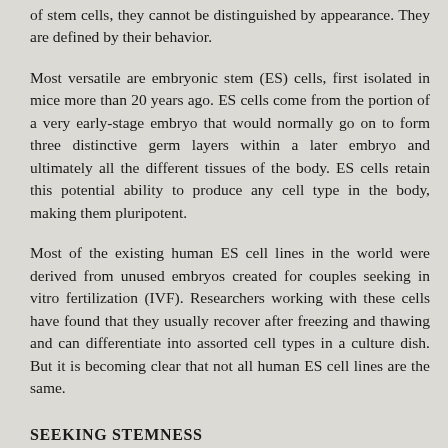of stem cells, they cannot be distinguished by appearance. They are defined by their behavior.
Most versatile are embryonic stem (ES) cells, first isolated in mice more than 20 years ago. ES cells come from the portion of a very early-stage embryo that would normally go on to form three distinctive germ layers within a later embryo and ultimately all the different tissues of the body. ES cells retain this potential ability to produce any cell type in the body, making them pluripotent.
Most of the existing human ES cell lines in the world were derived from unused embryos created for couples seeking in vitro fertilization (IVF). Researchers working with these cells have found that they usually recover after freezing and thawing and can differentiate into assorted cell types in a culture dish. But it is becoming clear that not all human ES cell lines are the same.
SEEKING STEMNESS